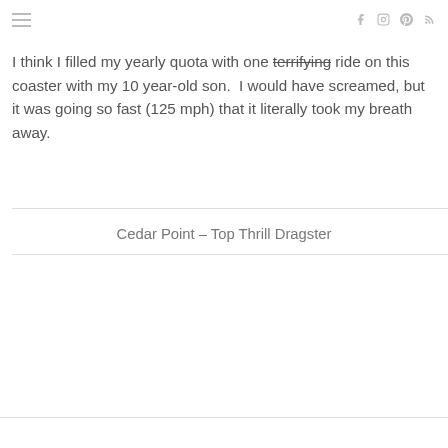≡  f  instagram  pinterest  rss
I think I filled my yearly quota with one terrifying ride on this coaster with my 10 year-old son.  I would have screamed, but it was going so fast (125 mph) that it literally took my breath away.
Cedar Point – Top Thrill Dragster